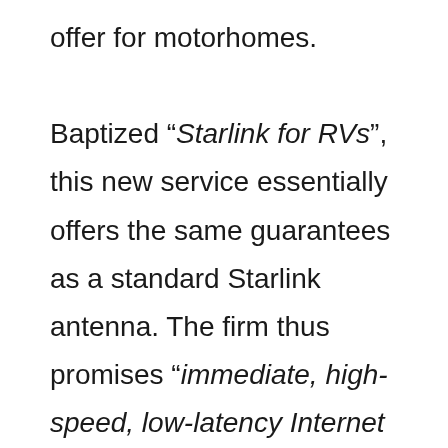offer for motorhomes.

Baptized “Starlink for RVs”, this new service essentially offers the same guarantees as a standard Starlink antenna. The firm thus promises “immediate, high-speed, low-latency Internet access”. This satellite connection should be accessible from all areas already served by the constellation. In theory, this should